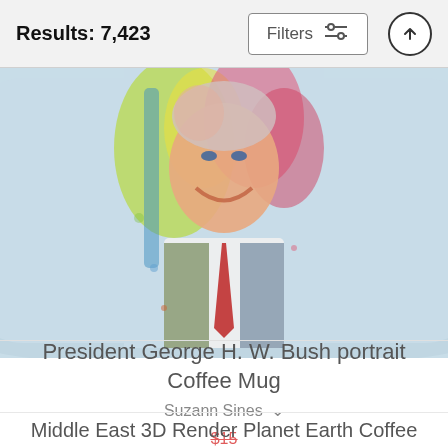Results: 7,423
Filters
[Figure (photo): Coffee mug with colorful watercolor portrait of President George H. W. Bush, light blue mug background, showing head and shoulders with suit and tie]
President George H. W. Bush portrait Coffee Mug
Suzann Sines
$15 (strikethrough) $12
Middle East 3D Render Planet Earth Coffee